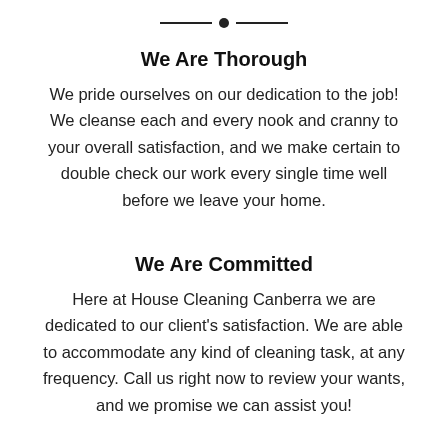We Are Thorough
We pride ourselves on our dedication to the job! We cleanse each and every nook and cranny to your overall satisfaction, and we make certain to double check our work every single time well before we leave your home.
We Are Committed
Here at House Cleaning Canberra we are dedicated to our client's satisfaction. We are able to accommodate any kind of cleaning task, at any frequency. Call us right now to review your wants, and we promise we can assist you!
We Are Punctual